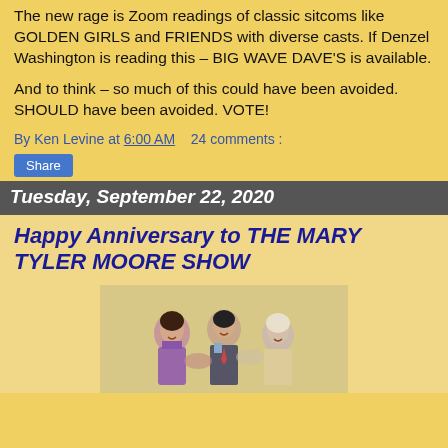The new rage is Zoom readings of classic sitcoms like GOLDEN GIRLS and FRIENDS with diverse casts.  If Denzel Washington is reading this – BIG WAVE DAVE'S is available.
And to think – so much of this could have been avoided. SHOULD have been avoided. VOTE!
By Ken Levine at 6:00 AM    24 comments :
Share
Tuesday, September 22, 2020
Happy Anniversary to THE MARY TYLER MOORE SHOW
[Figure (photo): Group photo of three people posing together, appears to be cast members]